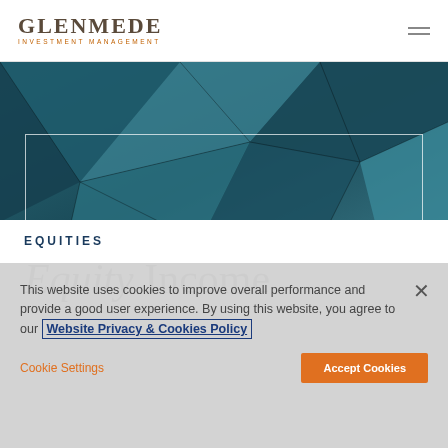Glenmede Investment Management
[Figure (photo): Abstract geometric teal/blue background with diagonal triangular facets resembling a crystalline or metallic surface]
EQUITIES
Equity Income
This website uses cookies to improve overall performance and provide a good user experience. By using this website, you agree to our Website Privacy & Cookies Policy
Cookie Settings | Accept Cookies